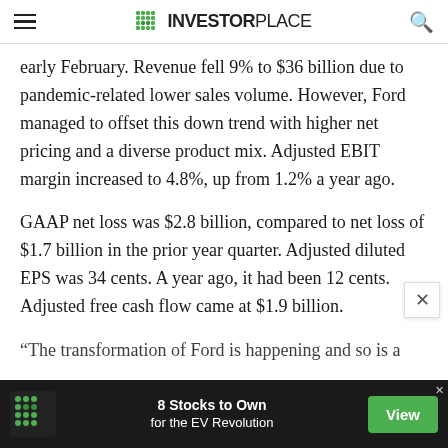INVESTORPLACE
early February. Revenue fell 9% to $36 billion due to pandemic-related lower sales volume. However, Ford managed to offset this down trend with higher net pricing and a diverse product mix. Adjusted EBIT margin increased to 4.8%, up from 1.2% a year ago.
GAAP net loss was $2.8 billion, compared to net loss of $1.7 billion in the prior year quarter. Adjusted diluted EPS was 34 cents. A year ago, it had been 12 cents. Adjusted free cash flow came at $1.9 billion.
“The transformation of Ford is happening and so is a
[Figure (infographic): Advertisement banner: InvestorPlace logo (green dot grid) with text '8 Stocks to Own for the EV Revolution' and green 'View' button on dark background]